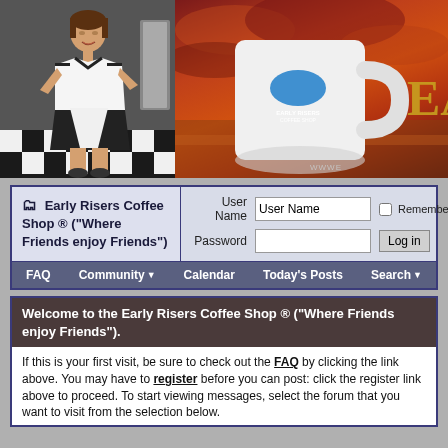[Figure (photo): Banner with two images: left shows a waitress in black-and-white diner uniform in a checkered-floor diner; right shows a white coffee mug with a logo on a dramatic red-sky background, with partial text 'EA' and 'WWWE' visible]
🗂 Early Risers Coffee Shop ® ("Where Friends enjoy Friends")
User Name  [User Name field]  [ ] Remember Me?
Password   [Password field]  [Log in]
FAQ   Community ▼   Calendar   Today's Posts   Search ▼
Welcome to the Early Risers Coffee Shop ® ("Where Friends enjoy Friends").
If this is your first visit, be sure to check out the FAQ by clicking the link above. You may have to register before you can post: click the register link above to proceed. To start viewing messages, select the forum that you want to visit from the selection below.